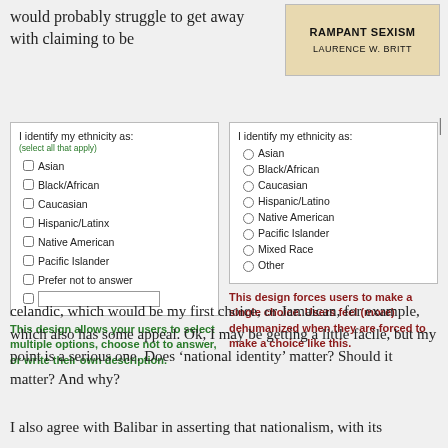would probably struggle to get away with claiming to be
[Figure (illustration): Book cover showing 'RAMPANT SEXISM' and 'LAURENCE W. BRITT' on a tan/beige background]
[Figure (infographic): Two side-by-side ethnicity form designs. Left form has checkboxes with '(select all that apply)' note, options: Asian, Black/African, Caucasian, Hispanic/Latinx, Native American, Pacific Islander, Prefer not to answer, and a write-in field. Right form has radio buttons with options: Asian, Black/African, Caucasian, Hispanic/Latino, Native American, Pacific Islander, Mixed Race, Other. Left caption in green: 'This design allows your users to select multiple options, choose not to answer, or write their own description.' Right caption in red: 'This design forces users to make a single choice. Users feel (more) dehumanized when they are forced to make a choice like this.']
celandic, which would be my first choice, or Jamaican, for example, which also has some appeal. Ok, I may be getting a little facile, but my point is a serious one. Does ‘national identity’ matter? Should it matter? And why?
I also agree with Balibar in asserting that nationalism, with its